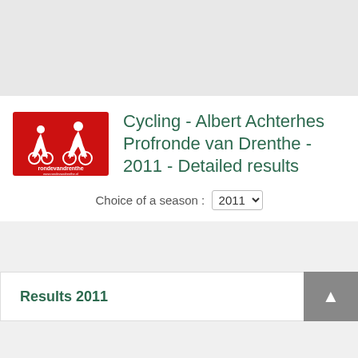[Figure (logo): Ronde van Drenthe logo: red rectangle with white cyclist silhouettes and text 'rondevandrenthe']
Cycling - Albert Achterhes Profronde van Drenthe - 2011 - Detailed results
Choice of a season : 2011
Results 2011